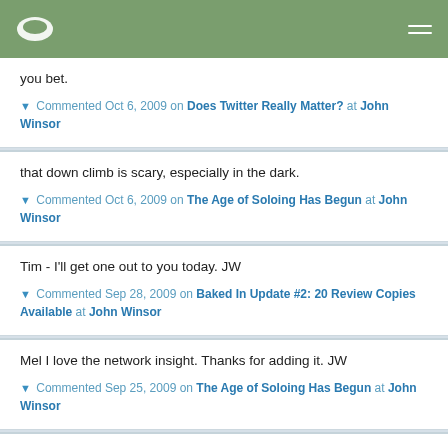Navigation header with logo and hamburger menu
you bet.
▼ Commented Oct 6, 2009 on Does Twitter Really Matter? at John Winsor
that down climb is scary, especially in the dark.
▼ Commented Oct 6, 2009 on The Age of Soloing Has Begun at John Winsor
Tim - I'll get one out to you today. JW
▼ Commented Sep 28, 2009 on Baked In Update #2: 20 Review Copies Available at John Winsor
Mel I love the network insight. Thanks for adding it. JW
▼ Commented Sep 25, 2009 on The Age of Soloing Has Begun at John Winsor
Edward: I couldn't agree more. It's time to wax up the surfboard and get ready for one hell of a ride.
▼ Commented Sep 11, 2009 on How Will You Survive the Digital Tsunami? at John Winsor